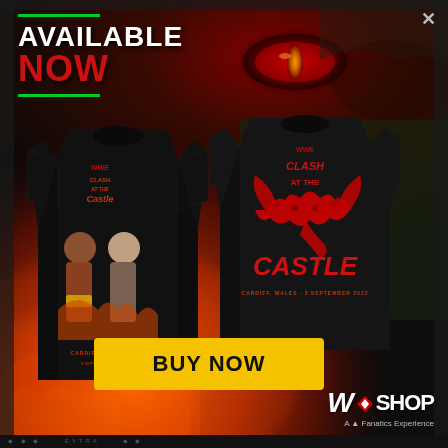[Figure (illustration): WWE Clash at the Castle promotional advertisement showing two black t-shirts with the event branding - front shirt shows wrestlers Roman Reigns and Drew McIntyre with flames background, back shirt shows Welsh dragon and 'Clash at the Castle' text. Background features dramatic fire, dark sky, castle ruins, and a glowing red eye. Close button X in top right corner.]
AVAILABLE NOW
BUY NOW
W SHOP
A Fanatics Experience